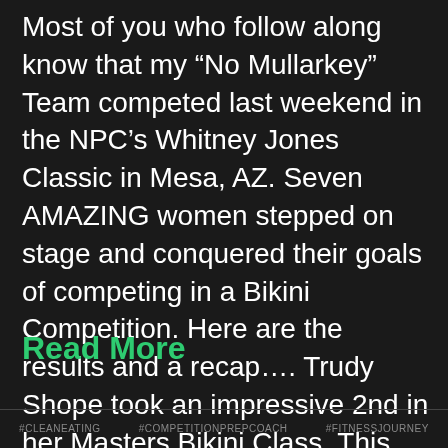Most of you who follow along know that my “No Mullarkey” Team competed last weekend in the NPC’s Whitney Jones Classic in Mesa, AZ. Seven AMAZING women stepped on stage and conquered their goals of competing in a Bikini Competition. Here are the results and a recap…. Trudy Shope took an impressive 2nd in her Masters Bikini Class. This was ...
Read More
#CLEANEATING   #COMPETITIONPREPCOACH   #FITNESSJOURNEY